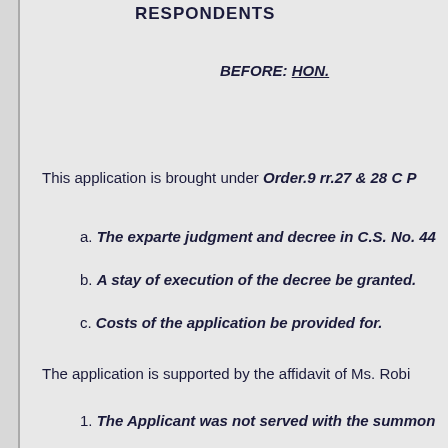RESPONDENTS
BEFORE: HON.
This application is brought under Order.9 rr.27 & 28 C P
a. The exparte judgment and decree in C.S. No. 44
b. A stay of execution of the decree be granted.
c. Costs of the application be provided for.
The application is supported by the affidavit of Ms. Robi
1. The Applicant was not served with the summon
2. The Applicant was not given the opportunity to
3. The Applicant did not learn of the existence of t June, 2013.
4. It is just and equitable that the judgment and de